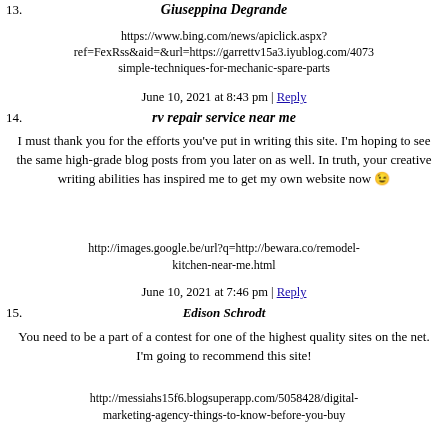13. Giuseppina Degrande
https://www.bing.com/news/apiclick.aspx?ref=FexRss&aid=&url=https://garrettv15a3.iyublog.com/4073 simple-techniques-for-mechanic-spare-parts
June 10, 2021 at 8:43 pm | Reply
14. rv repair service near me
I must thank you for the efforts you've put in writing this site. I'm hoping to see the same high-grade blog posts from you later on as well. In truth, your creative writing abilities has inspired me to get my own website now 😉
http://images.google.be/url?q=http://bewara.co/remodel-kitchen-near-me.html
June 10, 2021 at 7:46 pm | Reply
15. Edison Schrodt
You need to be a part of a contest for one of the highest quality sites on the net. I'm going to recommend this site!
http://messiahs15f6.blogsuperapp.com/5058428/digital-marketing-agency-things-to-know-before-you-buy